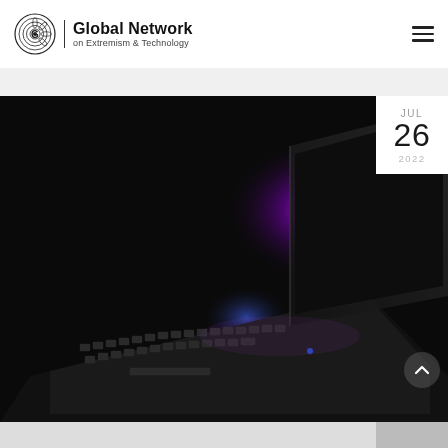Global Network on Extremism & Technology
[Figure (photo): Dark close-up photograph of a laptop keyboard with glowing purple/magenta light in the background and backlit keys, taken at a low angle.]
JUL 26 2022